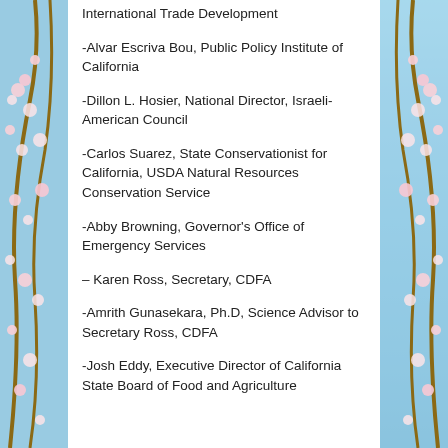International Trade Development
-Alvar Escriva Bou, Public Policy Institute of California
-Dillon L. Hosier, National Director, Israeli-American Council
-Carlos Suarez, State Conservationist for California, USDA Natural Resources Conservation Service
-Abby Browning, Governor's Office of Emergency Services
– Karen Ross, Secretary, CDFA
-Amrith Gunasekara, Ph.D, Science Advisor to Secretary Ross, CDFA
-Josh Eddy, Executive Director of California State Board of Food and Agriculture